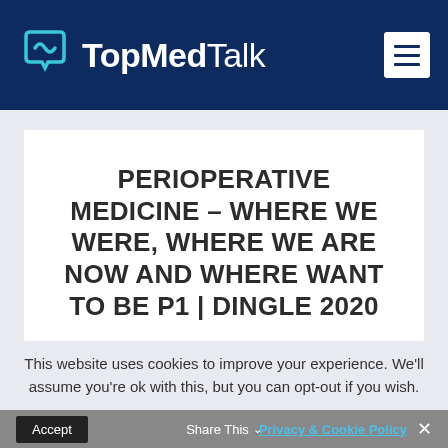TopMedTalk
PERIOPERATIVE MEDICINE – WHERE WE WERE, WHERE WE ARE NOW AND WHERE WANT TO BE P1 | DINGLE 2020
This website uses cookies to improve your experience. We'll assume you're ok with this, but you can opt-out if you wish.
Accept  Privacy & Cookie Policy  Share This  ×